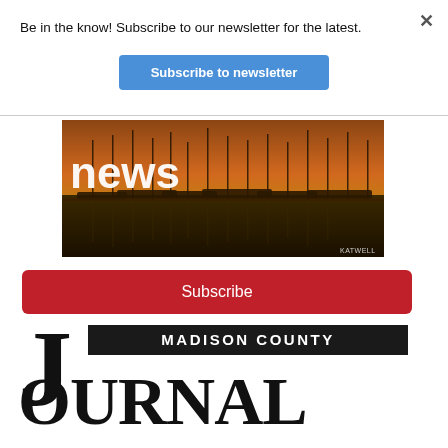Be in the know! Subscribe to our newsletter for the latest.
Subscribe to newsletter
[Figure (photo): Harbor/marina scene at sunset with sailboats docked, golden-amber sky, with the word 'news' overlaid in large white bold text. Watermark 'KATWELL' in lower right.]
Subscribe
MADISON COUNTY JOURNAL